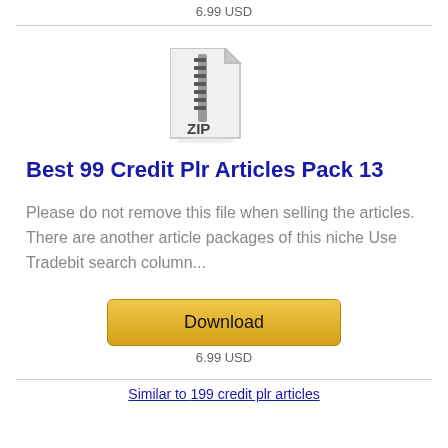6.99 USD
[Figure (illustration): ZIP file icon — a white document with folded top-right corner and a zipper graphic, labeled 'ZIP']
Best 99 Credit Plr Articles Pack 13
Please do not remove this file when selling the articles. There are another article packages of this niche Use Tradebit search column...
[Figure (other): Download button — golden/yellow gradient rounded rectangle button labeled 'Download']
6.99 USD
Similar to 199 credit plr articles...